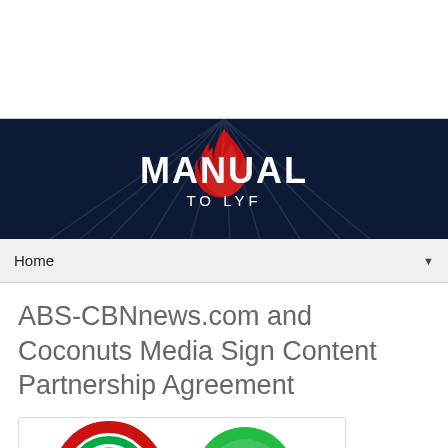[Figure (logo): Manual to Lyf website banner with dark navy background, geometric pattern, red flame/arrow logo, and white bold text 'MANUAL TO LYF']
Home ▼
ABS-CBNnews.com and Coconuts Media Sign Content Partnership Agreement
[Figure (logo): Two logos side by side: ABS-CBN circular logo with red, green and blue rings, and Coconuts Media green circular logo with a coconut/chat bubble icon]